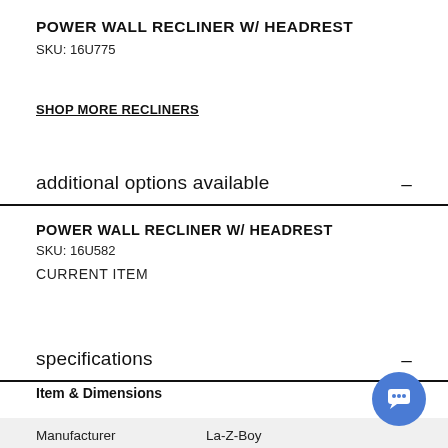POWER WALL RECLINER W/ HEADREST
SKU: 16U775
SHOP MORE RECLINERS
additional options available
POWER WALL RECLINER W/ HEADREST
SKU: 16U582
CURRENT ITEM
specifications
Item & Dimensions
|  |  |
| --- | --- |
| Manufacturer | La-Z-Boy |